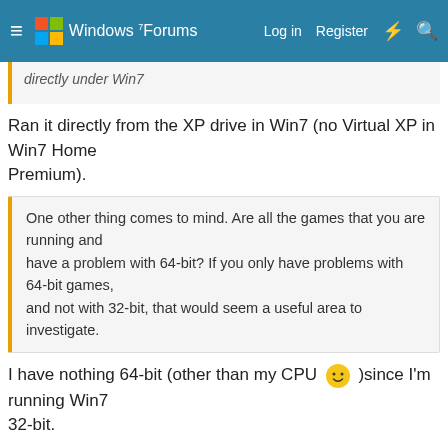Windows 7 Forums — Log in  Register
directly under Win7
Ran it directly from the XP drive in Win7 (no Virtual XP in Win7 Home
Premium).
One other thing comes to mind. Are all the games that you are running and
have a problem with 64-bit? If you only have problems with 64-bit games,
and not with 32-bit, that would seem a useful area to investigate.
I have nothing 64-bit (other than my CPU 🙂 )since I'm running Win7
32-bit.
1 of 3  Next ▶  ▶▶
You must log in or register to reply here.